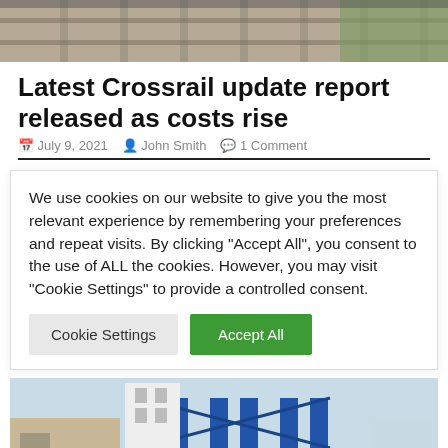[Figure (photo): Aerial view of railway tracks and infrastructure]
Latest Crossrail update report released as costs rise
July 9, 2021   John Smith   1 Comment
We use cookies on our website to give you the most relevant experience by remembering your preferences and repeat visits. By clicking "Accept All", you consent to the use of ALL the cookies. However, you may visit "Cookie Settings" to provide a controlled consent.
[Figure (photo): Blue bridge/lock infrastructure at a waterway, with barriers and a control building]